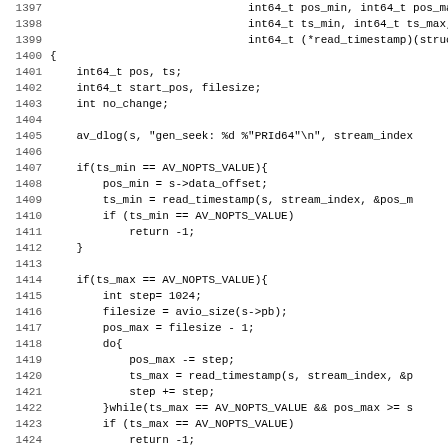[Figure (screenshot): Source code listing in monospace font showing C code for a gen_seek function, lines 1397-1428+, with line numbers on the left and code on the right. White background.]